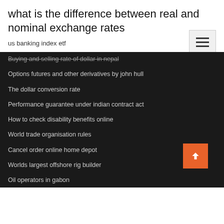what is the difference between real and nominal exchange rates
us banking index etf
Buying and selling rate of dollar in nepal
Options futures and other derivatives by john hull
The dollar conversion rate
Performance guarantee under indian contract act
How to check disability benefits online
World trade organisation rules
Cancel order online home depot
Worlds largest offshore rig builder
Oil operators in gabon